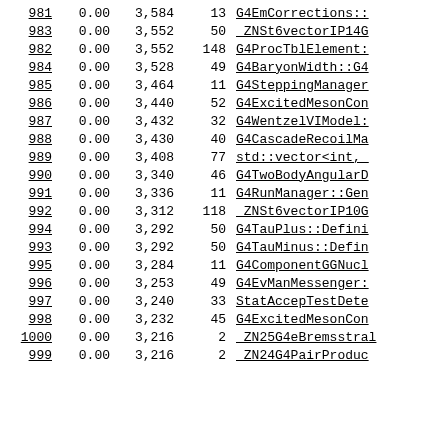| rank | pct | bytes | calls | name |
| --- | --- | --- | --- | --- |
| 981 | 0.00 | 3,584 | 13 | G4EmCorrections:: |
| 983 | 0.00 | 3,552 | 50 | _ZNSt6vectorIP14G |
| 982 | 0.00 | 3,552 | 148 | G4ProcTblElement: |
| 984 | 0.00 | 3,528 | 49 | G4BaryonWidth::G4 |
| 985 | 0.00 | 3,464 | 11 | G4SteppingManager |
| 986 | 0.00 | 3,440 | 52 | G4ExcitedMesonCon |
| 987 | 0.00 | 3,432 | 32 | G4WentzelVIModel: |
| 988 | 0.00 | 3,430 | 40 | G4CascadeRecoilMa |
| 989 | 0.00 | 3,408 | 77 | std::vector<int,_ |
| 990 | 0.00 | 3,340 | 46 | G4TwoBodyAngularD |
| 991 | 0.00 | 3,336 | 11 | G4RunManager::Gen |
| 992 | 0.00 | 3,312 | 118 | _ZNSt6vectorIP10G |
| 994 | 0.00 | 3,292 | 50 | G4TauPlus::Defini |
| 993 | 0.00 | 3,292 | 50 | G4TauMinus::Defin |
| 995 | 0.00 | 3,284 | 11 | G4ComponentGGNucl |
| 996 | 0.00 | 3,253 | 49 | G4EvManMessenger: |
| 997 | 0.00 | 3,240 | 33 | StatAccepTestDete |
| 998 | 0.00 | 3,232 | 45 | G4ExcitedMesonCon |
| 1000 | 0.00 | 3,216 | 2 | _ZN25G4eBremsstral |
| 999 | 0.00 | 3,216 | 2 | _ZN24G4PairProduc |